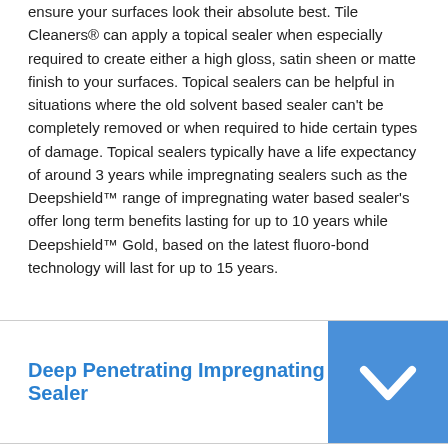ensure your surfaces look their absolute best. Tile Cleaners® can apply a topical sealer when especially required to create either a high gloss, satin sheen or matte finish to your surfaces. Topical sealers can be helpful in situations where the old solvent based sealer can't be completely removed or when required to hide certain types of damage. Topical sealers typically have a life expectancy of around 3 years while impregnating sealers such as the Deepshield™ range of impregnating water based sealer's offer long term benefits lasting for up to 10 years while Deepshield™ Gold, based on the latest fluoro-bond technology will last for up to 15 years.
Deep Penetrating Impregnating Sealer
(Transparent Finish/Colour Enhancing Finish)
Impregnating sealers are safe for stone and highly recommended. These sealers sit below the surface of your tile and deposit solid particles into the pores of your stone coating the individual minerals below.
Even when the tile has been sealed before with an impregnating sealer there is no need to strip the old sealer(as with Topical Sealer) before reapplying, most aren't affected by UV light, and high quality penetrating sealers do not require frequent applications.
Impregnating sealers do not alter the slip resistant properties of the tile, meaning that if the tile is not a slippery tile then it will stay non-slip, making it the recommended sealer for most cases where slipping may be a risk.
Impregnating sealers used by Tile Cleaners® usually have a lifetime of up to 10